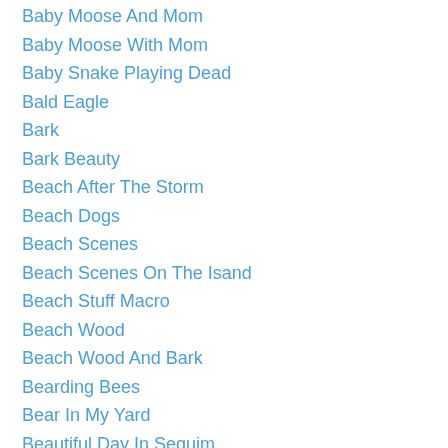Baby Moose And Mom
Baby Moose With Mom
Baby Snake Playing Dead
Bald Eagle
Bark
Bark Beauty
Beach After The Storm
Beach Dogs
Beach Scenes
Beach Scenes On The Isand
Beach Stuff Macro
Beach Wood
Beach Wood And Bark
Bearding Bees
Bear In My Yard
Beautiful Day In Sequim
Beautiful Fawns
Beautiful Mushrooms
Beautiful Soap Bubbles
Beauty Comes In All Sizes And Forms